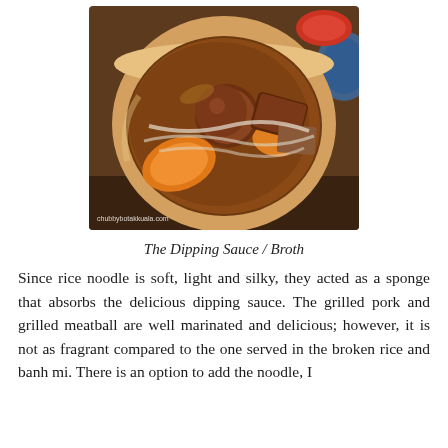[Figure (photo): A clay pot or ceramic bowl containing Vietnamese broth/dipping sauce with meatball, grilled pork, tofu, and vegetables including orange pumpkin slices. A red chili sauce dish is partially visible in the upper right corner. Watermark 'chubbybotakkuala.com' visible at bottom left.]
The Dipping Sauce / Broth
Since rice noodle is soft, light and silky, they acted as a sponge that absorbs the delicious dipping sauce. The grilled pork and grilled meatball are well marinated and delicious; however, it is not as fragrant compared to the one served in the broken rice and banh mi. There is an option to add the noodle, I